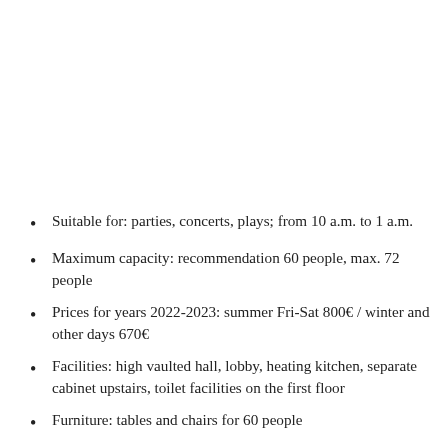Suitable for: parties, concerts, plays; from 10 a.m. to 1 a.m.
Maximum capacity: recommendation 60 people, max. 72 people
Prices for years 2022-2023: summer Fri-Sat 800€ / winter and other days 670€
Facilities: high vaulted hall, lobby, heating kitchen, separate cabinet upstairs, toilet facilities on the first floor
Furniture: tables and chairs for 60 people
Equipment: internet connection (WLAN), mixer-